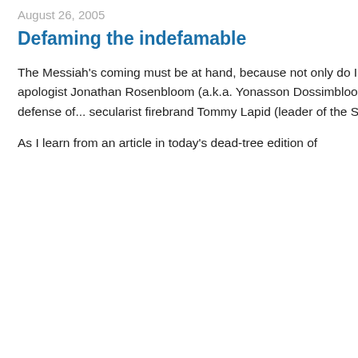August 26, 2005
Defaming the indefamable
The Messiah's coming must be at hand, because not only do I agree for once with ultra-Orthodox apologist Jonathan Rosenbloom (a.k.a. Yonasson Dossimbloom), but he actually takes up the defense of... secularist firebrand Tommy Lapid (leader of the Shinui party).
As I learn from an article in today's dead-tree edition of
Europundits
Silent Running
OxBlog
Israeli bloggers
Imshin (not a fish)
Rishon Rishon
AntiChomsky (Gefen)
Shaister
Tal G.
Gil Shterzer
Allison K. Sommer
Belgian anti-Idiotarians
Hoegin (in Dutch)
Flex Flint
LvB (in Dutch)
Dog of Flanders